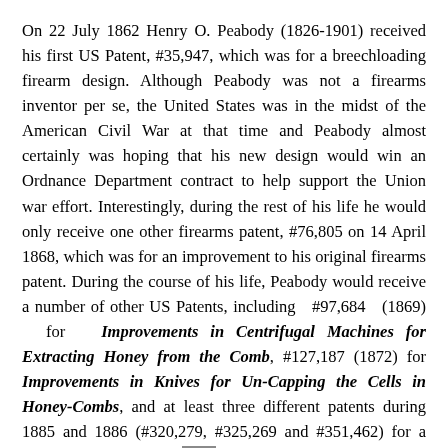On 22 July 1862 Henry O. Peabody (1826-1901) received his first US Patent, #35,947, which was for a breechloading firearm design. Although Peabody was not a firearms inventor per se, the United States was in the midst of the American Civil War at that time and Peabody almost certainly was hoping that his new design would win an Ordnance Department contract to help support the Union war effort. Interestingly, during the rest of his life he would only receive one other firearms patent, #76,805 on 14 April 1868, which was for an improvement to his original firearms patent. During the course of his life, Peabody would receive a number of other US Patents, including #97,684 (1869) for Improvements in Centrifugal Machines for Extracting Honey from the Comb, #127,187 (1872) for Improvements in Knives for Un-Capping the Cells in Honey-Combs, and at least three different patents during 1885 and 1886 (#320,279, #325,269 and #351,462) for a Fertilizer Distributor. Today Peabody is only remembered as a footnote in firearms history, despite the importance of his design, but Massachusetts residents remember him for the